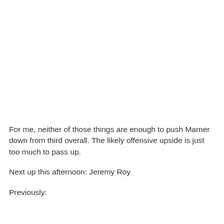For me, neither of those things are enough to push Marner down from third overall. The likely offensive upside is just too much to pass up.
Next up this afternoon: Jeremy Roy
Previously: